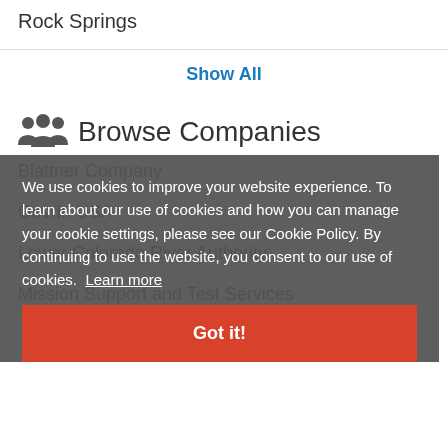Rock Springs
Show All
Browse Companies
Blattner Company
Govrin USA
Lower Colorado River Authority
Mission Support and Test Services
We use cookies to improve your website experience. To learn about our use of cookies and how you can manage your cookie settings, please see our Cookie Policy. By continuing to use the website, you consent to our use of cookies. Learn more
Got it!